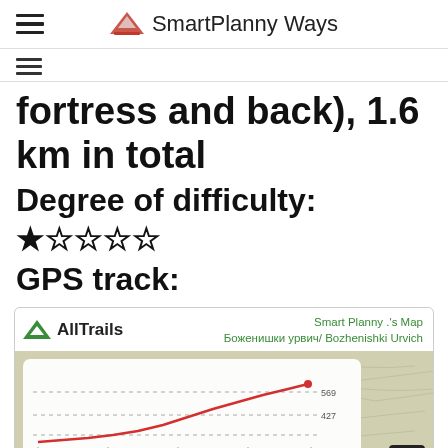SmartPlanny Ways
fortress and back), 1.6 km in total
Degree of difficulty: ★☆☆☆☆
GPS track:
[Figure (continuous-plot): AllTrails elevation profile map for Smart Planny's Map - Боженишки урвич / Bozhenishki Urvich, showing elevation rising from about 427m at 0.0 km to about 569m at 0.82 km]